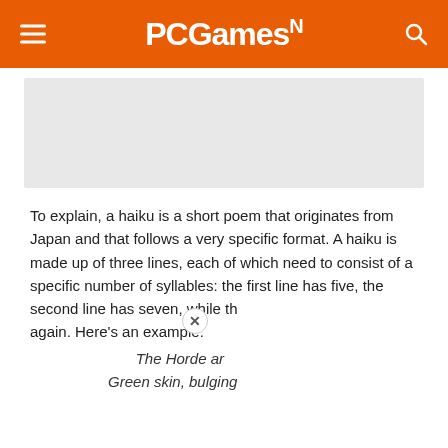PCGamesN
[Figure (other): Gray advertisement placeholder banner]
To explain, a haiku is a short poem that originates from Japan and that follows a very specific format. A haiku is made up of three lines, each of which need to consist of a specific number of syllables: the first line has five, the second line has seven, while th... again. Here's an example:
The Horde ar...
Green skin, bulging eyes, torn face
[Figure (other): Video advertisement overlay: MW badge, play button, dark figure, text reading EMBRACER GROUP BUY LOTR RIGHTS]